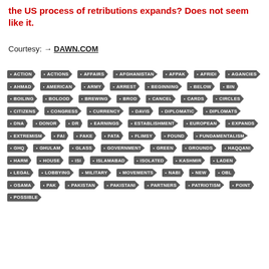the US process of retributions expands? Does not seem like it.
Courtesy: → DAWN.COM
[Figure (infographic): A tag cloud of keywords in dark grey pentagon/arrow-shaped tags with white text. Keywords include: ACTION, ACTIONS, AFFAIRS, AFGHANISTAN, AFPAK, AFRIDI, AGANCIES, AHMAD, AMERICAN, ARMY, ARREST, BEGINNING, BELOW, BIN, BOILING, BOLOOD, BREWING, BROD, CANCEL, CARDS, CIRCLES, CITIZENS, CONGRESS, CURRENCY, DAVIS, DIPLOMATIC, DIPLOMATS, DNA, DONOR, DR, EARNINGS, ESTABLISHMENT, EUROPEAN, EXPANDS, EXTREMISM, FAI, FAKE, FATA, FLIMSY, FOUND, FUNDAMENTALISM, GHQ, GHULAM, GLASS, GOVERNMENT, GREEN, GROUNDS, HAQQANI, HARM, HOUSE, ISI, ISLAMABAD, ISOLATED, KASHMIR, LADEN, LEGAL, LOBBYING, MILITARY, MOVEMENTS, NABI, NEW, OBL, OSAMA, PAK, PAKISTAN, PAKISTANI, PARTNERS, PATRIOTISM, POINT, POSSIBLE]